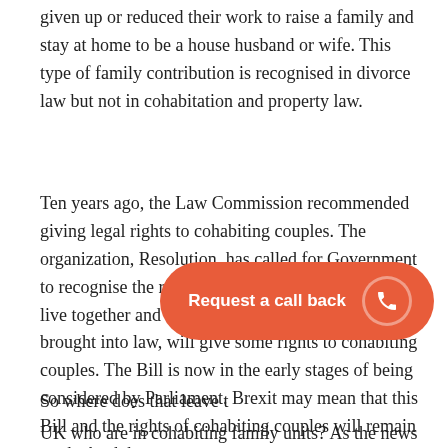given up or reduced their work to raise a family and stay at home to be a house husband or wife. This type of family contribution is recognised in divorce law but not in cohabitation and property law.
Ten years ago, the Law Commission recommended giving legal rights to cohabiting couples. The organization, Resolution, has called for Government to recognise the rights of unmarried couples who live together and the Cohabitation Rights Bill, if brought into law, will give some rights to cohabiting couples. The Bill is now in the early stages of being considered by Parliament. Brexit may mean that this Bill and the rights of cohabiting couples will remain on the back burner.
So where does that leave t...
UK who are in cohabiting family units? As the news